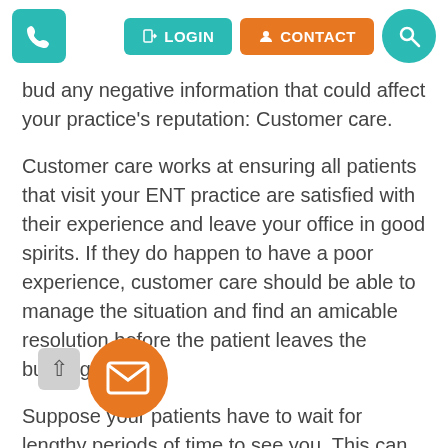LOGIN | CONTACT
bud any negative information that could affect your practice's reputation: Customer care.
Customer care works at ensuring all patients that visit your ENT practice are satisfied with their experience and leave your office in good spirits. If they do happen to have a poor experience, customer care should be able to manage the situation and find an amicable resolution before the patient leaves the building.
Suppose your patients have to wait for lengthy periods of time to see you. This can rub some the wrong way, especially if they called in advance to book an appointment. Through customer care monitoring, you could identify this as something that is damaging your reputation.
Technology can also reduce the inefficiencies in your